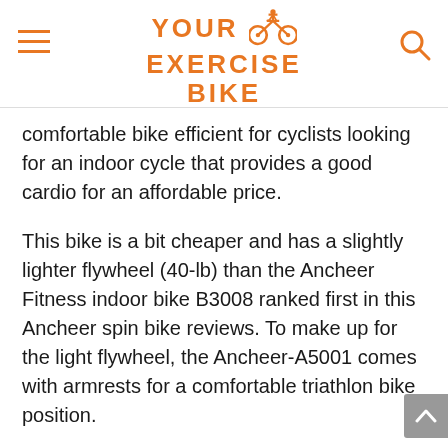YOUR EXERCISE BIKE
comfortable bike efficient for cyclists looking for an indoor cycle that provides a good cardio for an affordable price.
This bike is a bit cheaper and has a slightly lighter flywheel (40-lb) than the Ancheer Fitness indoor bike B3008 ranked first in this Ancheer spin bike reviews. To make up for the light flywheel, the Ancheer-A5001 comes with armrests for a comfortable triathlon bike position.
Additionally, the A5001 Ancheer spin bike also comes with two pulse sensors. They are not super accurate but give you an idea of your heart rate